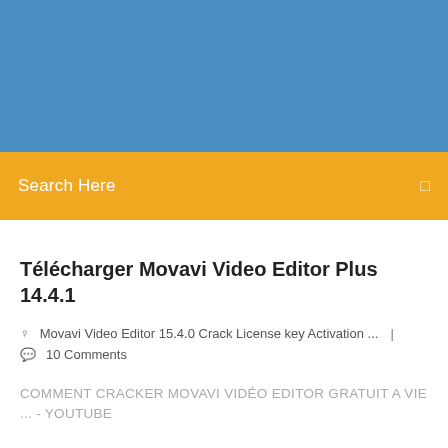[Figure (other): Blue banner/header area at the top of the webpage]
Search Here
Télécharger Movavi Video Editor Plus 14.4.1
Movavi Video Editor 15.4.0 Crack License key Activation ...  |  10 Comments
COMMENT CRACKER MOVAVI VIDÉO EDITOR GRATUIT A VIE ... - YouTube